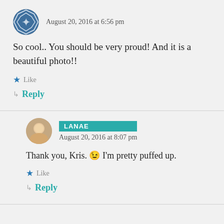August 20, 2016 at 6:56 pm
So cool.. You should be very proud! And it is a beautiful photo!!
★ Like
↳ Reply
LANAE
August 20, 2016 at 8:07 pm
Thank you, Kris. 😉 I'm pretty puffed up.
★ Like
↳ Reply